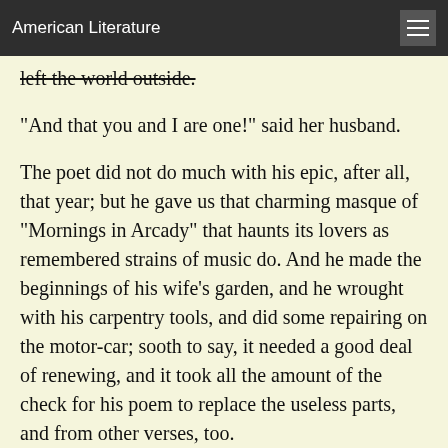American Literature
left the world outside.
"And that you and I are one!" said her husband.
The poet did not do much with his epic, after all, that year; but he gave us that charming masque of "Mornings in Arcady" that haunts its lovers as remembered strains of music do. And he made the beginnings of his wife's garden, and he wrought with his carpentry tools, and did some repairing on the motor-car; sooth to say, it needed a good deal of renewing, and it took all the amount of the check for his poem to replace the useless parts, and from other verses, too.
And he...